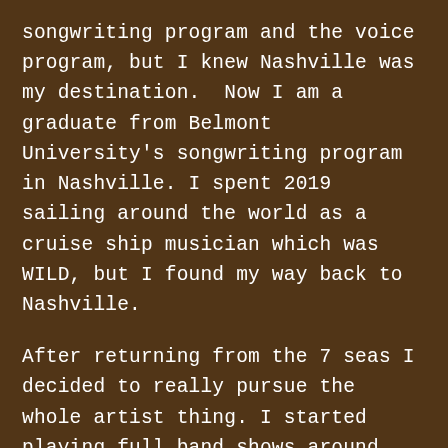songwriting program and the voice program, but I knew Nashville was my destination.  Now I am a graduate from Belmont University's songwriting program in Nashville. I spent 2019 sailing around the world as a cruise ship musician which was WILD, but I found my way back to Nashville.
After returning from the 7 seas I decided to really pursue the whole artist thing. I started playing full band shows around Nash with my all